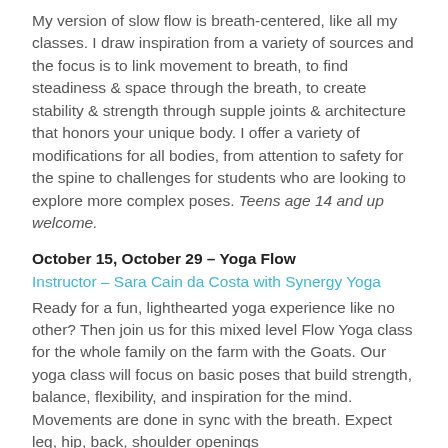My version of slow flow is breath-centered, like all my classes. I draw inspiration from a variety of sources and the focus is to link movement to breath, to find steadiness & space through the breath, to create stability & strength through supple joints & architecture that honors your unique body. I offer a variety of modifications for all bodies, from attention to safety for the spine to challenges for students who are looking to explore more complex poses. Teens age 14 and up welcome.
October 15, October 29 – Yoga Flow
Instructor – Sara Cain da Costa with Synergy Yoga
Ready for a fun, lighthearted yoga experience like no other? Then join us for this mixed level Flow Yoga class for the whole family on the farm with the Goats. Our yoga class will focus on basic poses that build strength, balance, flexibility, and inspiration for the mind. Movements are done in sync with the breath. Expect leg, hip, back, shoulder openings